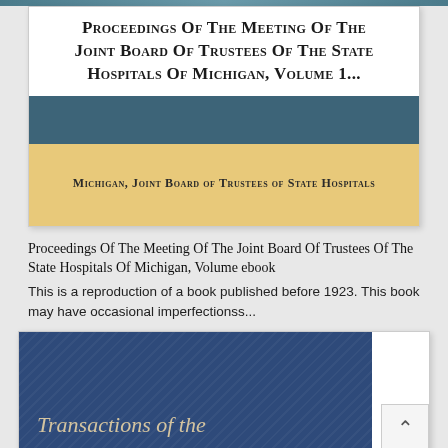[Figure (other): Top decorative bar in teal/blue gradient]
Proceedings Of The Meeting Of The Joint Board Of Trustees Of The State Hospitals Of Michigan, Volume 1...
[Figure (illustration): Book cover image with dark teal blue stripe on top and gold/tan area below displaying the author/organization name]
Michigan, Joint Board of Trustees of State Hospitals
Proceedings Of The Meeting Of The Joint Board Of Trustees Of The State Hospitals Of Michigan, Volume ebook
This is a reproduction of a book published before 1923. This book may have occasional imperfectionss...
[Figure (illustration): Second book cover thumbnail showing blue background with diagonal stripe texture and partial text 'Transactions of the']